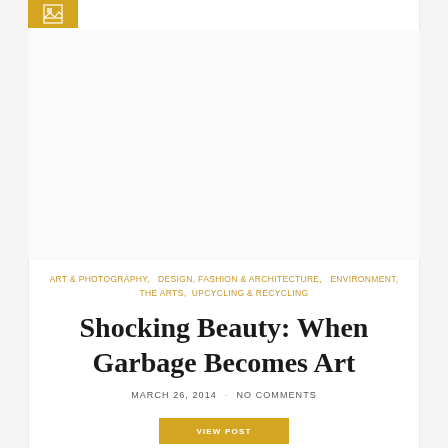[Figure (logo): Small golden/amber colored square logo box with image icon]
[Figure (photo): Large image placeholder area at top of blog post]
ART & PHOTOGRAPHY,   DESIGN, FASHION & ARCHITECTURE,   ENVIRONMENT,   THE ARTS,   UPCYCLING & RECYCLING
Shocking Beauty: When Garbage Becomes Art
MARCH 26, 2014  ·  NO COMMENTS
VIEW POST